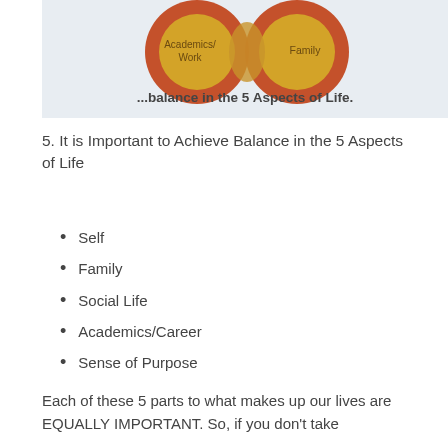[Figure (infographic): Venn diagram showing overlapping circles labeled Academics/Work and Family with text '...balance in the 5 Aspects of Life.']
5. It is Important to Achieve Balance in the 5 Aspects of Life
Self
Family
Social Life
Academics/Career
Sense of Purpose
Each of these 5 parts to what makes up our lives are EQUALLY IMPORTANT. So, if you don't take